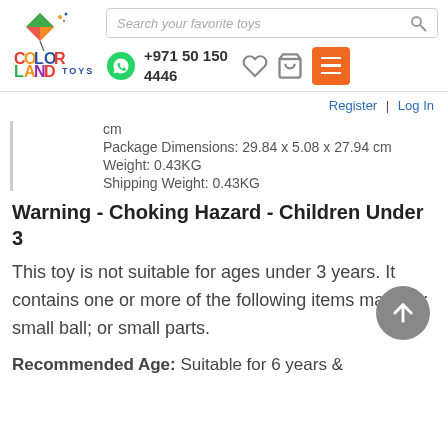[Figure (logo): Color Land Toys logo with kite icon and colorful letters]
Search your favorite toys | +971 50 150 4446 | Register | Log In
cm
Package Dimensions: 29.84 x 5.08 x 27.94 cm
Weight: 0.43KG
Shipping Weight: 0.43KG
Warning - Choking Hazard - Children Under 3
This toy is not suitable for ages under 3 years. It contains one or more of the following items marbles; small ball; or small parts.
Recommended Age: Suitable for 6 years &